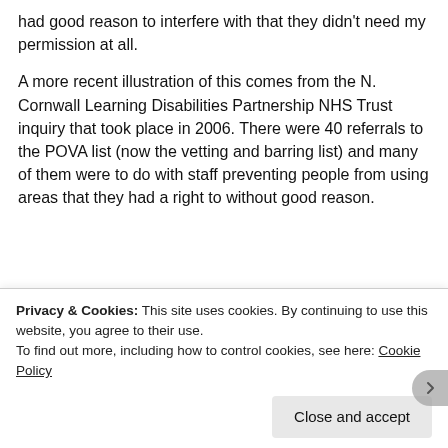had good reason to interfere with that they didn't need my permission at all.
A more recent illustration of this comes from the N. Cornwall Learning Disabilities Partnership NHS Trust inquiry that took place in 2006. There were 40 referrals to the POVA list (now the vetting and barring list) and many of them were to do with staff preventing people from using areas that they had a right to without good reason.
[Figure (infographic): Advertisement banner reading 'How to start selling subscriptions online' with a purple button and cyan/blue decorative graphic shape on the right.]
Privacy & Cookies: This site uses cookies. By continuing to use this website, you agree to their use. To find out more, including how to control cookies, see here: Cookie Policy